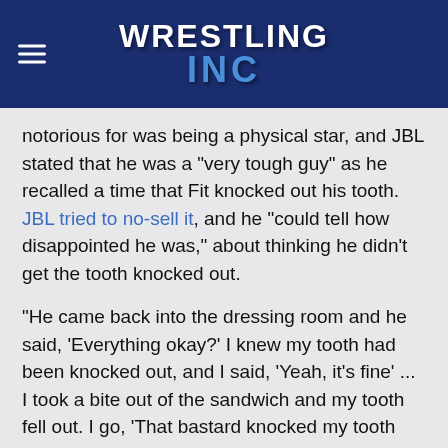[Figure (logo): Wrestling Inc logo on dark blue header background with hamburger menu icon on the left]
notorious for was being a physical star, and JBL stated that he was a "very tough guy" as he recalled a time that Fit knocked out his tooth. JBL tried to no-sell it, and he "could tell how disappointed he was," about thinking he didn't get the tooth knocked out.
"He came back into the dressing room and he said, 'Everything okay?' I knew my tooth had been knocked out, and I said, 'Yeah, it's fine' ... I took a bite out of the sandwich and my tooth fell out. I go, 'That bastard knocked my tooth out,' and he was right around the corner and he came to me and goes, 'Yes!' and left. He was so happy."